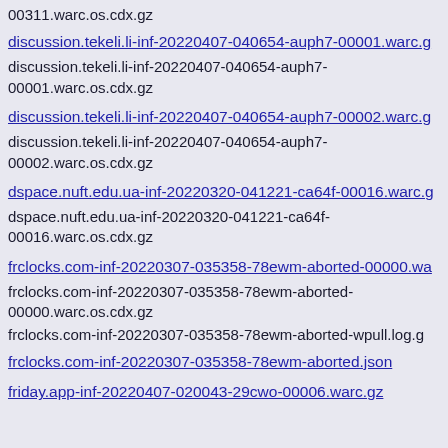00311.warc.os.cdx.gz
discussion.tekeli.li-inf-20220407-040654-auph7-00001.warc.gz (link)
discussion.tekeli.li-inf-20220407-040654-auph7-00001.warc.os.cdx.gz
discussion.tekeli.li-inf-20220407-040654-auph7-00002.warc.gz (link)
discussion.tekeli.li-inf-20220407-040654-auph7-00002.warc.os.cdx.gz
dspace.nuft.edu.ua-inf-20220320-041221-ca64f-00016.warc.gz (link)
dspace.nuft.edu.ua-inf-20220320-041221-ca64f-00016.warc.os.cdx.gz
frclocks.com-inf-20220307-035358-78ewm-aborted-00000.warc.gz (link)
frclocks.com-inf-20220307-035358-78ewm-aborted-00000.warc.os.cdx.gz
frclocks.com-inf-20220307-035358-78ewm-aborted-wpull.log.gz
frclocks.com-inf-20220307-035358-78ewm-aborted.json (link)
friday.app-inf-20220407-020043-29cwo-00006.warc.gz (link)